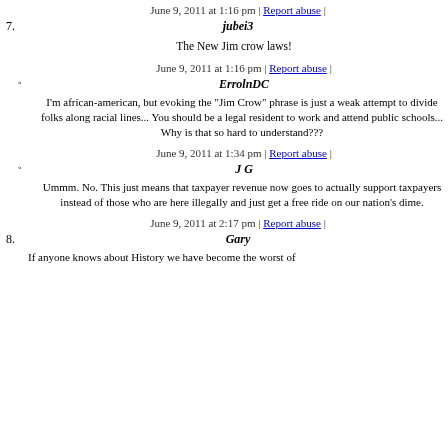June 9, 2011 at 1:16 pm | Report abuse |
7. jubei3
The New Jim crow laws!
June 9, 2011 at 1:16 pm | Report abuse |
◦ ErrolnDC
I'm african-american, but evoking the "Jim Crow" phrase is just a weak attempt to divide folks along racial lines... You should be a legal resident to work and attend public schools... Why is that so hard to understand???
June 9, 2011 at 1:34 pm | Report abuse |
◦ J G
Ummm. No. This just means that taxpayer revenue now goes to actually support taxpayers instead of those who are here illegally and just get a free ride on our nation's dime.
June 9, 2011 at 2:17 pm | Report abuse |
8. Gary
If anyone knows about History we have become the worst of